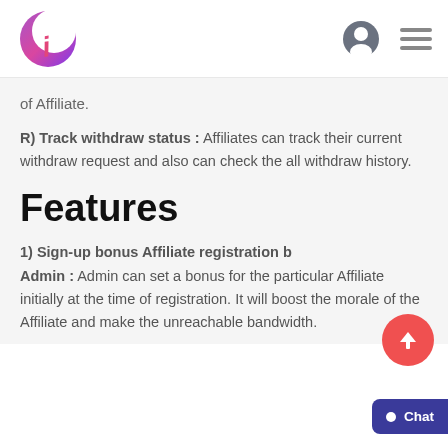[Figure (logo): Circular logo with crescent moon shape in pink-purple gradient with a stylized 'i' letter inside]
of Affiliate.
R) Track withdraw status: Affiliates can track their current withdraw request and also can check the all withdraw history.
Features
1) Sign-up bonus Affiliate registration by Admin: Admin can set a bonus for the particular Affiliate initially at the time of registration. It will boost the morale of the Affiliate and make the unreachable bandwidth.